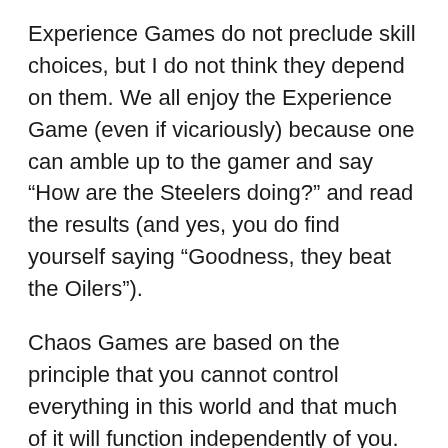Experience Games do not preclude skill choices, but I do not think they depend on them. We all enjoy the Experience Game (even if vicariously) because one can amble up to the gamer and say “How are the Steelers doing?” and read the results (and yes, you do find yourself saying “Goodness, they beat the Oilers”).
Chaos Games are based on the principle that you cannot control everything in this world and that much of it will function independently of you. As you cannot control it, you do not bother trying to simulate it as a game option. The “fun” of such games is winning despite all the “friction” you face. The corollary of this is that you can play very well and still lose badly (which is very unlikely to occur in an Ordered Game). I have always believed that, as a result, Chaos Games should be shorter than Ordered Games, so that you do not offer frustrated players that...